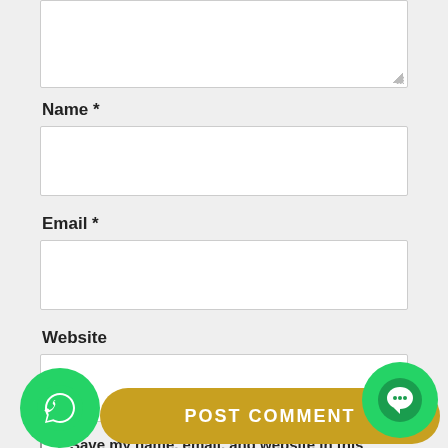[Figure (screenshot): Comment form textarea (top, partially visible)]
Name *
[Figure (screenshot): Name input field]
Email *
[Figure (screenshot): Email input field]
Website
[Figure (screenshot): Website input field]
Save my name, email, and website in this browser for the next time I comment.
[Figure (screenshot): POST COMMENT button with WhatsApp and chat overlay buttons]